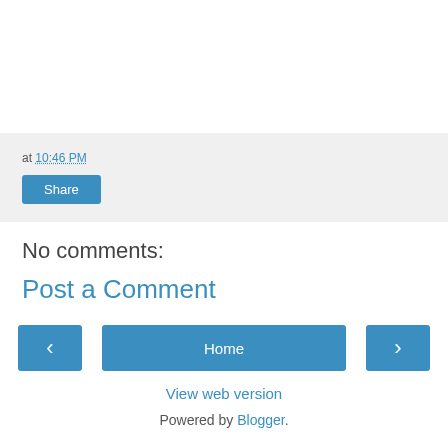at 10:46 PM
Share
No comments:
Post a Comment
‹
Home
›
View web version
Powered by Blogger.